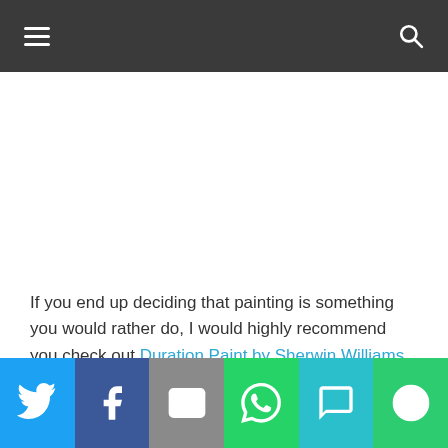Navigation header with menu and search icons
If you end up deciding that painting is something you would rather do, I would highly recommend you check out Duration Paint by Sherwin Williams. I had my home painted with this product three years ago and it still looks outstanding. Duration paint is much more expensive than traditional paints but will last far longer. It is considered a superior painting product!
[Figure (infographic): Social sharing bar with Twitter, Facebook, Email, WhatsApp, SMS, and More buttons]